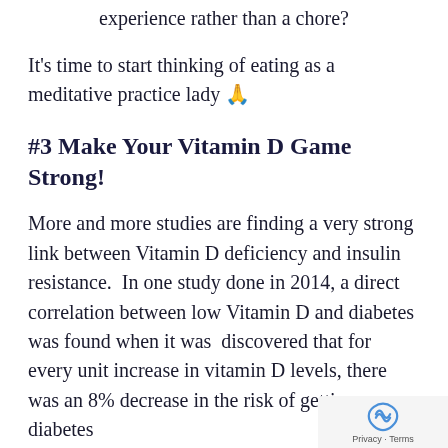experience rather than a chore?
It's time to start thinking of eating as a meditative practice lady 🙏
#3 Make Your Vitamin D Game Strong!
More and more studies are finding a very strong link between Vitamin D deficiency and insulin resistance.  In one study done in 2014, a direct correlation between low Vitamin D and diabetes was found when it was  discovered that for every unit increase in vitamin D levels, there was an 8% decrease in the risk of getting diabetes